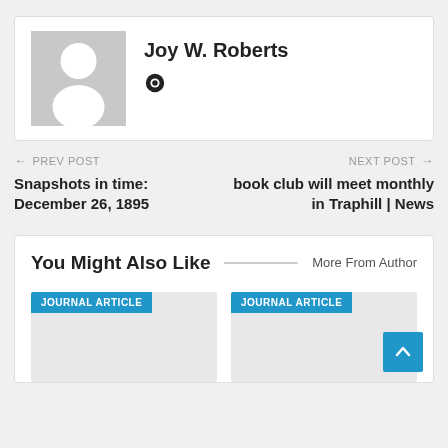[Figure (illustration): Author profile card with grey avatar placeholder silhouette and globe icon, next to author name Joy W. Roberts]
Joy W. Roberts
← PREV POST
Snapshots in time: December 26, 1895
NEXT POST →
book club will meet monthly in Traphill | News
You Might Also Like
More From Author
JOURNAL ARTICLE
JOURNAL ARTICLE